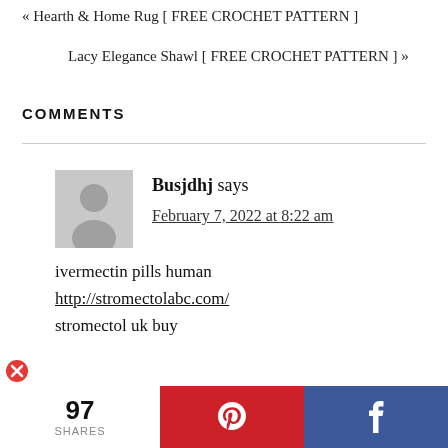« Hearth & Home Rug [ FREE CROCHET PATTERN ]
Lacy Elegance Shawl [ FREE CROCHET PATTERN ] »
COMMENTS
Busjdhj says
February 7, 2022 at 8:22 am
ivermectin pills human
http://stromectolabc.com/
stromectol uk buy
[Figure (infographic): Red circle with white X error icon]
[Figure (infographic): Social share bar showing 97 shares, Pinterest button (red), Facebook button (blue)]